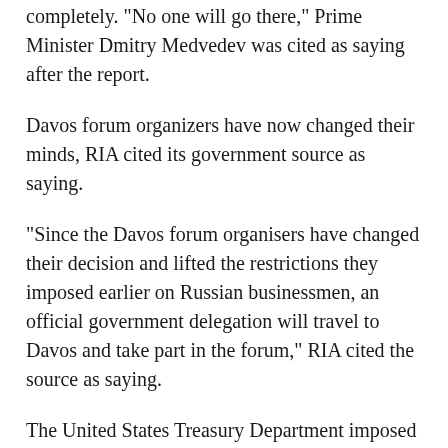completely. "No one will go there," Prime Minister Dmitry Medvedev was cited as saying after the report.
Davos forum organizers have now changed their minds, RIA cited its government source as saying.
“Since the Davos forum organisers have changed their decision and lifted the restrictions they imposed earlier on Russian businessmen, an official government delegation will travel to Davos and take part in the forum,” RIA cited the source as saying.
The United States Treasury Department imposed sanctions on billionaire Oleg Deripaska in April along with companies in which he is a large shareholder, including Rusal, the world’s top aluminium producer outside China.